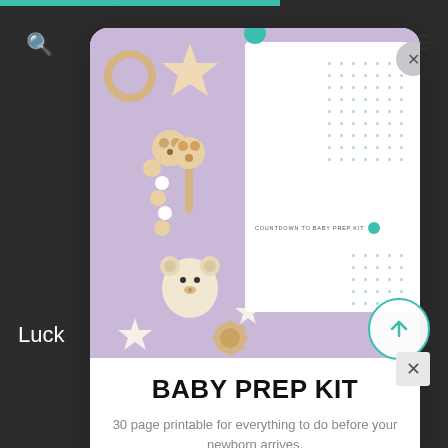[Figure (screenshot): Website screenshot showing a popup modal for 'Baby Prep Kit' with a photo of baby toys on a lavender background, a white document overlay with dot grid, countdown label, and modal close button. Below is bold title and description text.]
BABY PREP KIT
30 page printable for everything to do before your newborn arrives.